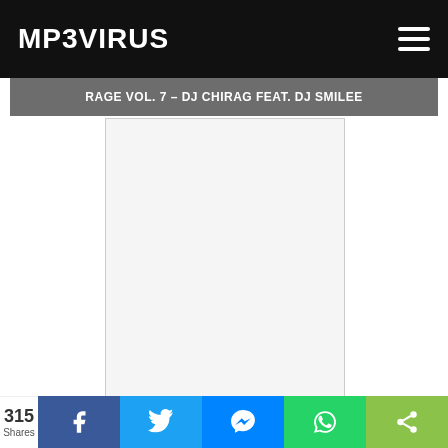MP3VIRUS
RAGE VOL. 7 – DJ CHIRAG FEAT. DJ SMILEE
[Figure (other): Advertisement or media placeholder image (blank white box with light border)]
Song Name: Rage Vol. 7 – DJ Chirag Feat. DJ Smilee
315 Shares | Facebook | Twitter | Messenger | WhatsApp | Share